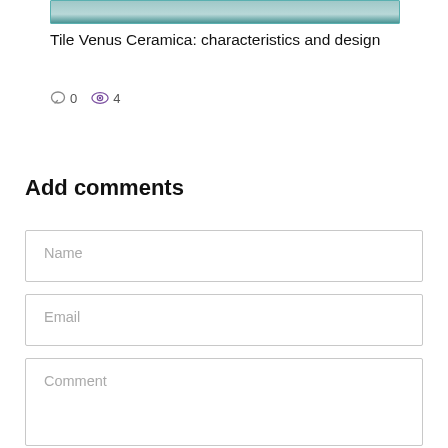[Figure (photo): Partial top edge of a tile/interior photo, cropped]
Tile Venus Ceramica: characteristics and design
0  4
Add comments
Name
Email
Comment